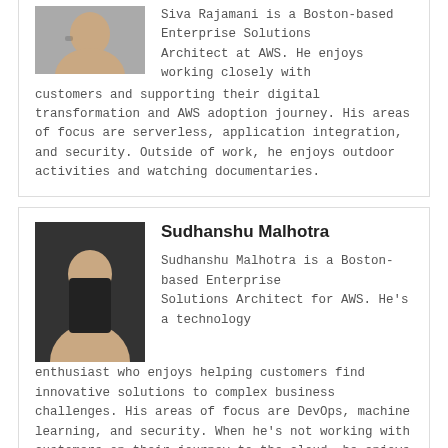[Figure (photo): Headshot photo of Siva Rajamani]
Siva Rajamani is a Boston-based Enterprise Solutions Architect at AWS. He enjoys working closely with customers and supporting their digital transformation and AWS adoption journey. His areas of focus are serverless, application integration, and security. Outside of work, he enjoys outdoor activities and watching documentaries.
[Figure (photo): Headshot photo of Sudhanshu Malhotra]
Sudhanshu Malhotra
Sudhanshu Malhotra is a Boston-based Enterprise Solutions Architect for AWS. He's a technology enthusiast who enjoys helping customers find innovative solutions to complex business challenges. His areas of focus are DevOps, machine learning, and security. When he's not working with customers on their journey to the cloud, he enjoys reading, hiking, and exploring new cuisines.
[Figure (photo): Headshot photo of Pawan Matta]
Pawan Matta